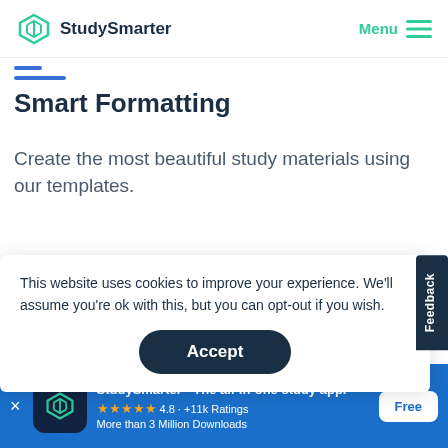[Figure (logo): StudySmarter logo with teal geometric icon and text, plus Menu hamburger button in top right]
[Figure (illustration): Blue horizontal lines decoration element]
Smart Formatting
Create the most beautiful study materials using our templates.
This website uses cookies to improve your experience. We'll assume you're ok with this, but you can opt-out if you wish.
Accept
Feedback
StudySmarter - The all-in-one study app.
4.8 · +11k Ratings
More than 3 Million Downloads
Free